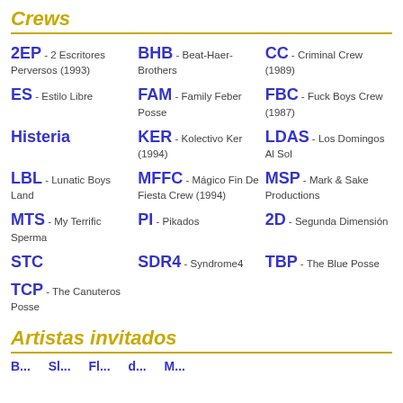Crews
2EP - 2 Escritores Perversos (1993)
BHB - Beat-Haer-Brothers
CC - Criminal Crew (1989)
ES - Estilo Libre
FAM - Family Feber Posse
FBC - Fuck Boys Crew (1987)
Histeria
KER - Kolectivo Ker (1994)
LDAS - Los Domingos Al Sol
LBL - Lunatic Boys Land
MFFC - Mágico Fin De Fiesta Crew (1994)
MSP - Mark & Sake Productions
MTS - My Terrific Sperma
PI - Pikados
2D - Segunda Dimensión
STC
SDR4 - Syndrome4
TBP - The Blue Posse
TCP - The Canuteros Posse
Artistas invitados